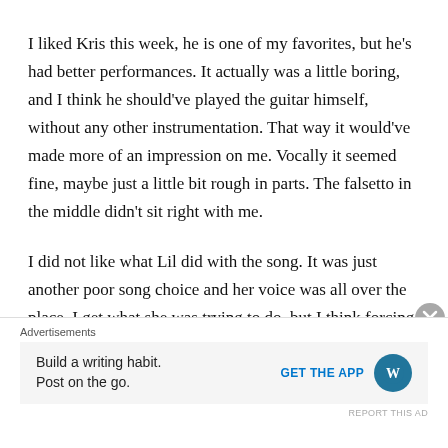I liked Kris this week, he is one of my favorites, but he's had better performances. It actually was a little boring, and I think he should've played the guitar himself, without any other instrumentation. That way it would've made more of an impression on me. Vocally it seemed fine, maybe just a little bit rough in parts. The falsetto in the middle didn't sit right with me.
I did not like what Lil did with the song. It was just another poor song choice and her voice was all over the place. I get what she was trying to do, but I think forcing her to be more of an "artist"
Advertisements
Build a writing habit. Post on the go.